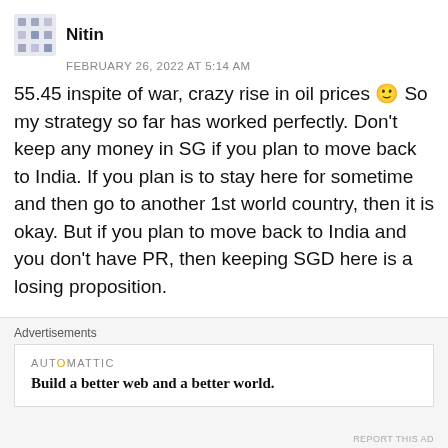Nitin
FEBRUARY 26, 2022 AT 5:14 AM
55.45 inspite of war, crazy rise in oil prices 🙂 So my strategy so far has worked perfectly. Don't keep any money in SG if you plan to move back to India. If you plan is to stay here for sometime and then go to another 1st world country, then it is okay. But if you plan to move back to India and you don't have PR, then keeping SGD here is a losing proposition.
Like
REPLY
Advertisements
AUTOMATTIC
Build a better web and a better world.